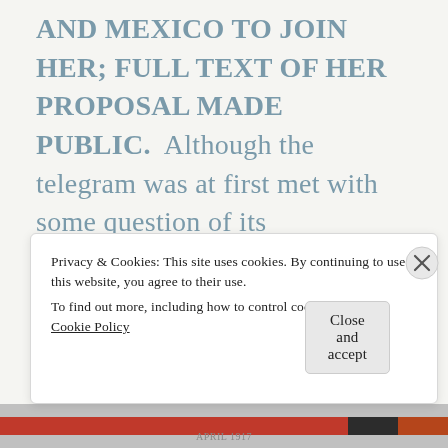AND MEXICO TO JOIN HER; FULL TEXT OF HER PROPOSAL MADE PUBLIC.  Although the telegram was at first met with some question of its authenticity, Zimmerman himself quelled these feeling by admitting, " I can not deny it. It is true." The public was inflamed. It seems certain that the United States will enter the war.
April 16 War declared
Privacy & Cookies: This site uses cookies. By continuing to use this website, you agree to their use.
To find out more, including how to control cookies, see here: Cookie Policy
Close and accept